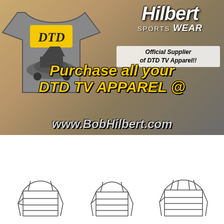[Figure (illustration): Bob Hilbert Sportswear advertisement: DTD TV t-shirt on left with sprint car graphic, Hilbert Sports Wear logo upper right, text reading 'Official Supplier of DTD TV Apparel!!', large yellow italic text 'Purchase all your DTD TV APPAREL @', and gray italic URL 'www.BobHilbert.com']
[Figure (logo): Bicknell Racing Products banner on black background with red diagonal stripes, stylized B logo, BICKNELL text, and CSC Racing logo on right]
[Figure (illustration): Three roll cage / chassis frame diagrams shown as line drawings on white background]